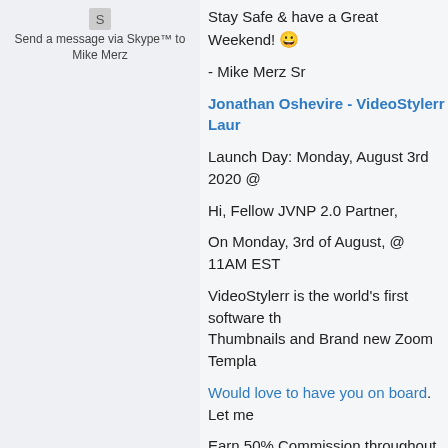[Figure (other): Skype icon and link: Send a message via Skype™ to Mike Merz]
Stay Safe & have a Great Weekend! 😀
- Mike Merz Sr
Jonathan Oshevire - VideoStylerr Laur...
Launch Day: Monday, August 3rd 2020 @...
Hi, Fellow JVNP 2.0 Partner,
On Monday, 3rd of August, @ 11AM EST...
VideoStylerr is the world's first software th... Thumbnails and Brand new Zoom Templa...
Would love to have you on board. Let me...
Earn 50% Commission throughout the Pr...
Grab up to $197 per sale…
What is VideoStylerr?
VideoStylerr is the world's first software fo... Thumbnails and Brand-new Zoom Templa... for any type of video platform. VideoStyle...
Zoom Craze
VideoStylerr comes with stunning Zoom b... jumped from 20 million to 300 Million in...